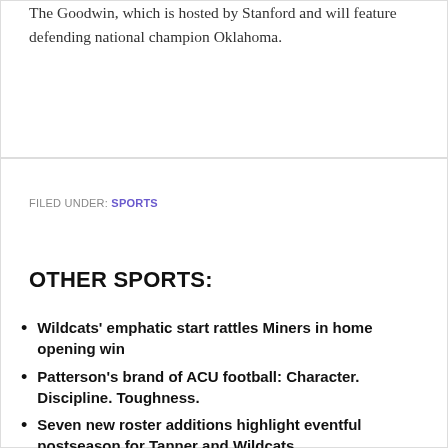The Goodwin, which is hosted by Stanford and will feature defending national champion Oklahoma.
FILED UNDER: SPORTS
OTHER SPORTS:
Wildcats' emphatic start rattles Miners in home opening win
Patterson's brand of ACU football: Character. Discipline. Toughness.
Seven new roster additions highlight eventful postseason for Tanner and Wildcats